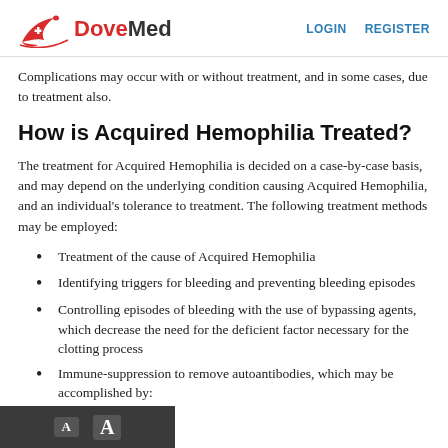DoveMed — LOGIN   REGISTER
Complications may occur with or without treatment, and in some cases, due to treatment also.
How is Acquired Hemophilia Treated?
The treatment for Acquired Hemophilia is decided on a case-by-case basis, and may depend on the underlying condition causing Acquired Hemophilia, and an individual's tolerance to treatment. The following treatment methods may be employed:
Treatment of the cause of Acquired Hemophilia
Identifying triggers for bleeding and preventing bleeding episodes
Controlling episodes of bleeding with the use of bypassing agents, which decrease the need for the deficient factor necessary for the clotting process
Immune-suppression to remove autoantibodies, which may be accomplished by: